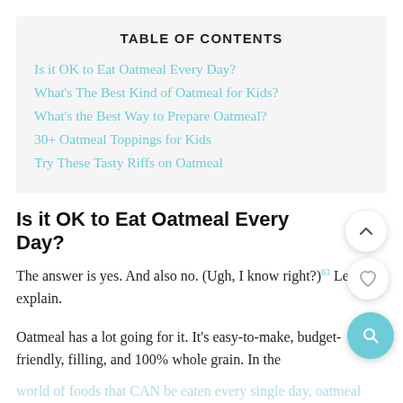TABLE OF CONTENTS
Is it OK to Eat Oatmeal Every Day?
What's The Best Kind of Oatmeal for Kids?
What's the Best Way to Prepare Oatmeal?
30+ Oatmeal Toppings for Kids
Try These Tasty Riffs on Oatmeal
Is it OK to Eat Oatmeal Every Day?
The answer is yes. And also no. (Ugh, I know right?)63 Let me explain.
Oatmeal has a lot going for it. It's easy-to-make, budget-friendly, filling, and 100% whole grain. In the world of foods that CAN be eaten every single day, oatmeal isn't a bad choice. But especially for kids,